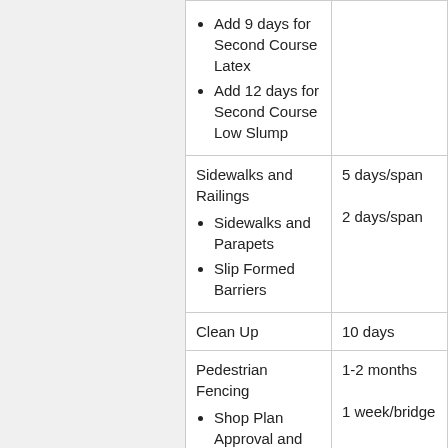| Activity | Duration |
| --- | --- |
| Add 9 days for Second Course Latex
Add 12 days for Second Course Low Slump |  |
| Sidewalks and Railings
• Sidewalks and Parapets
• Slip Formed Barriers | 5 days/span
2 days/span |
| Clean Up | 10 days |
| Pedestrian Fencing
• Shop Plan Approval and Fabrication
• Erection | 1-2 months
1 week/bridge |